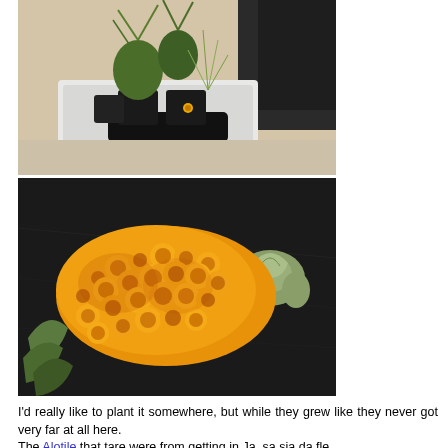[Figure (photo): Top-down view of potted plants in black pots sitting in a white tray on a table, with a dark fabric backdrop in the background. Small yellow flower visible.]
[Figure (photo): Close-up of a cluster of bright yellow-orange small flowers arranged in a dense bouquet on a dark surface, with a succulent visible to the right.]
I'd really like to plant it somewhere, but while they grew like they never got very far at all here.
The Alotile that tare were from getting in Ja sa sia da fle